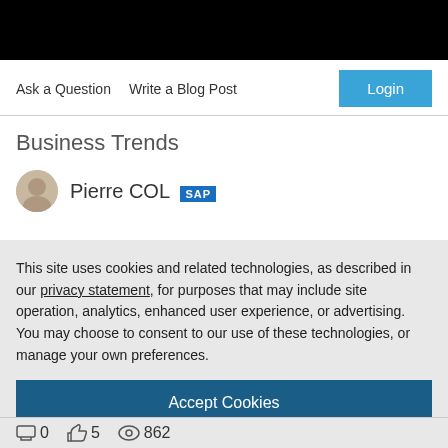Ask a Question   Write a Blog Post
Business Trends
Pierre COL [SAP]
This site uses cookies and related technologies, as described in our privacy statement, for purposes that may include site operation, analytics, enhanced user experience, or advertising. You may choose to consent to our use of these technologies, or manage your own preferences.
Accept Cookies
More Information
Privacy Policy | Powered by: TrustArc
0  5  862